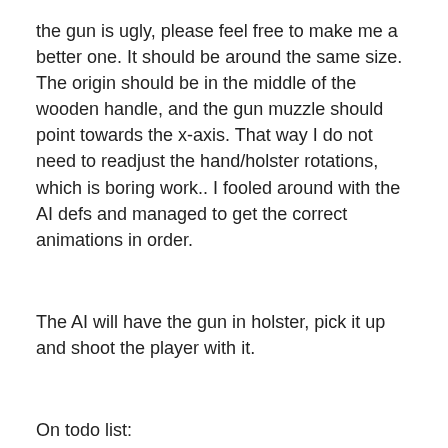the gun is ugly, please feel free to make me a better one. It should be around the same size. The origin should be in the middle of the wooden handle, and the gun muzzle should point towards the x-axis. That way I do not need to readjust the hand/holster rotations, which is boring work.. I fooled around with the AI defs and managed to get the correct animations in order.
The AI will have the gun in holster, pick it up and shoot the player with it.
On todo list:
*Make AI always use the gun. Now if the player gets too close, the AI gets flustered and will not fire. It is probably a spawnarg job, but I do not know which one. Any ideas?
*The gun shoots broadhead arrows. I need to make a new projectile for it. I was thinking of making the gun very deadly, maybe 70-90% damage to player's health. The projectile should